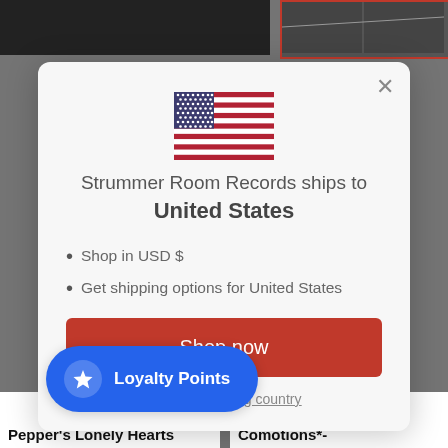[Figure (screenshot): Background page with two thumbnail images at top and bottom text fragments]
[Figure (illustration): US flag SVG illustration centered in modal]
Strummer Room Records ships to
United States
Shop in USD $
Get shipping options for United States
Shop now
Change shipping country
Loyalty Points
Pepper's Lonely Hearts
Comotions*-